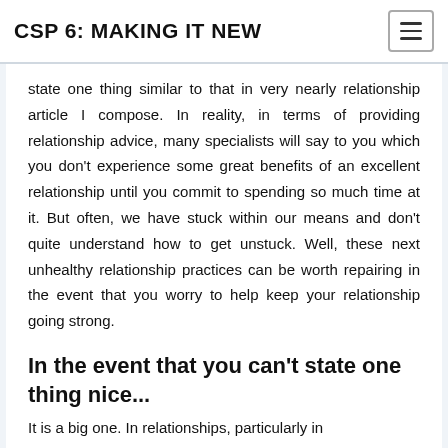CSP 6: MAKING IT NEW
state one thing similar to that in very nearly relationship article I compose. In reality, in terms of providing relationship advice, many specialists will say to you which you don't experience some great benefits of an excellent relationship until you commit to spending so much time at it. But often, we have stuck within our means and don't quite understand how to get unstuck. Well, these next unhealthy relationship practices can be worth repairing in the event that you worry to help keep your relationship going strong.
In the event that you can't state one thing nice...
It is a big one. In relationships, particularly in